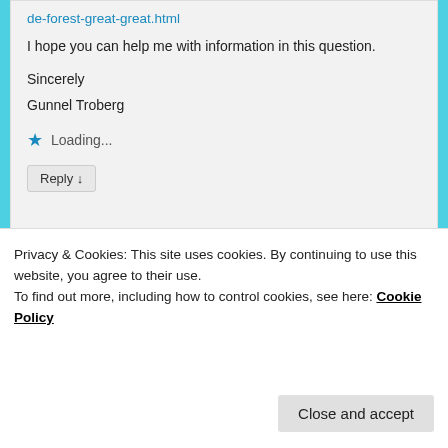de-forest-great-great.html
I hope you can help me with information in this question.
Sincerely
Gunnel Troberg
Loading...
Reply ↓
robertajestes
Privacy & Cookies: This site uses cookies. By continuing to use this website, you agree to their use.
To find out more, including how to control cookies, see here: Cookie Policy
Close and accept
question. If the lineage of King Edward VII